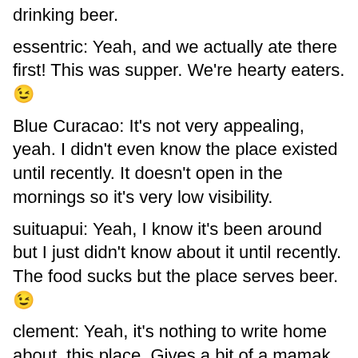drinking beer.
essentric: Yeah, and we actually ate there first! This was supper. We're hearty eaters. 😉
Blue Curacao: It's not very appealing, yeah. I didn't even know the place existed until recently. It doesn't open in the mornings so it's very low visibility.
suituapui: Yeah, I know it's been around but I just didn't know about it until recently. The food sucks but the place serves beer. 😉
clement: Yeah, it's nothing to write home about, this place. Gives a bit of a mamak ambiance though.
Jeff: ROTFLMAO! Hahaha! Your comment made my day. Cheers for that. Yeah, choose ye this day which gender thou